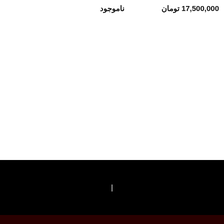17,500,000 تومان
ناموجود
|
تماس با ما :